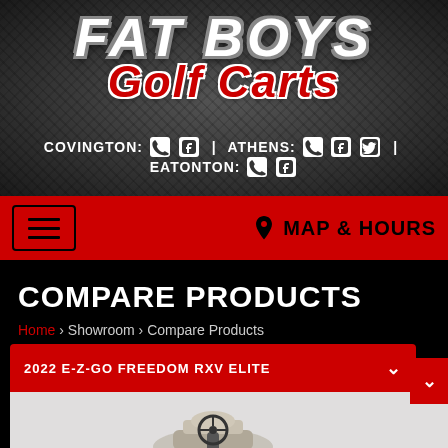[Figure (logo): Fat Boys Golf Carts logo on dark tire-texture background]
COVINGTON: [phone] [facebook] | ATHENS: [phone] [facebook] [twitter] | EATONTON: [phone] [facebook]
MAP & HOURS
COMPARE PRODUCTS
Home > Showroom > Compare Products
2022 E-Z-GO FREEDOM RXV ELITE